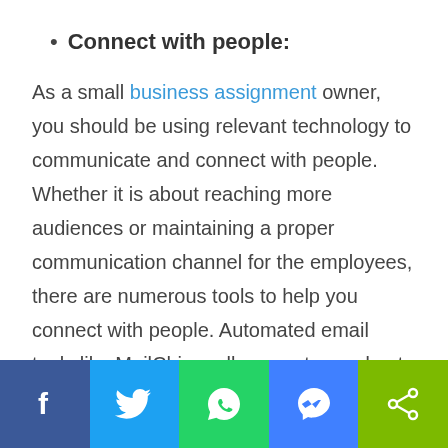Connect with people:
As a small business assignment owner, you should be using relevant technology to communicate and connect with people. Whether it is about reaching more audiences or maintaining a proper communication channel for the employees, there are numerous tools to help you connect with people. Automated email tools like MailChimp allow you to send out scheduled emails and newsletters to potential and existing customers. Also, collaboration tools allow your staff to collaborate with others for various projects.
[Figure (infographic): Social media sharing bar with Facebook, Twitter, WhatsApp, Messenger, and Share buttons]